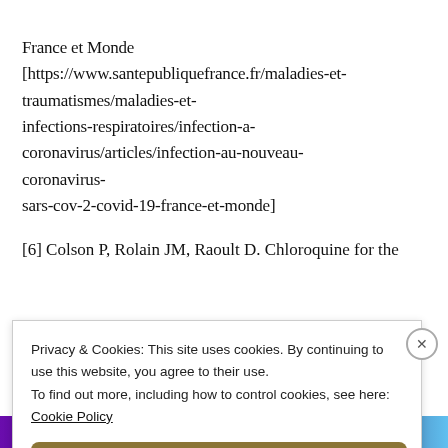France et Monde [https://www.santepubliquefrance.fr/maladies-et-traumatismes/maladies-et-infections-respiratoires/infection-a-coronavirus/articles/infection-au-nouveau-coronavirus-sars-cov-2-covid-19-france-et-monde]
[6] Colson P, Rolain JM, Raoult D. Chloroquine for the
Privacy & Cookies: This site uses cookies. By continuing to use this website, you agree to their use.
To find out more, including how to control cookies, see here:
Cookie Policy
Close and accept